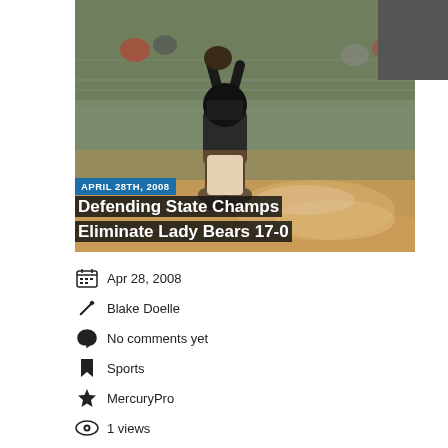[Figure (photo): Softball/baseball catcher in full gear reaching up to catch a ball during a game, dust cloud around home plate, chain-link fence and spectators in background. Date overlay: APRIL 28TH, 2008. Headline overlay: Defending State Champs Eliminate Lady Bears 17-0]
Apr 28, 2008
Blake Doelle
No comments yet
Sports
MercuryPro
1 views